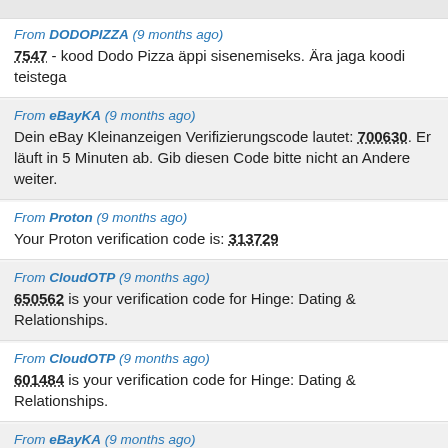From DODOPIZZA (9 months ago)
7547 - kood Dodo Pizza äppi sisenemiseks. Ära jaga koodi teistega
From eBayKA (9 months ago)
Dein eBay Kleinanzeigen Verifizierungscode lautet: 700630. Er läuft in 5 Minuten ab. Gib diesen Code bitte nicht an Andere weiter.
From Proton (9 months ago)
Your Proton verification code is: 313729
From CloudOTP (9 months ago)
650562 is your verification code for Hinge: Dating & Relationships.
From CloudOTP (9 months ago)
601484 is your verification code for Hinge: Dating & Relationships.
From eBayKA (9 months ago)
Dein eBay Kleinanzeigen Verifizierungscode lautet: 915309. Er läuft in 5 Minuten ab. Gib diesen Code bitte nicht an Andere weiter.
From Fr9es (9 months ago)